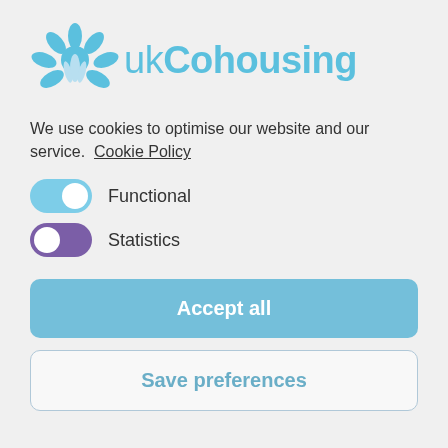[Figure (logo): UK Cohousing logo with a blue stylized flower/leaf emblem on the left and the text 'ukCohousing' in light blue]
We use cookies to optimise our website and our service.  Cookie Policy
Functional
Statistics
Accept all
Save preferences